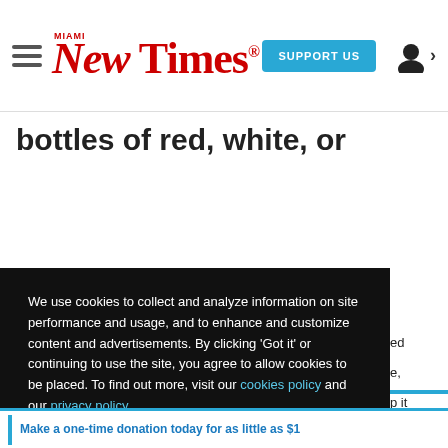Miami New Times — SUPPORT US
bottles of red, white, or
We use cookies to collect and analyze information on site performance and usage, and to enhance and customize content and advertisements. By clicking 'Got it' or continuing to use the site, you agree to allow cookies to be placed. To find out more, visit our cookies policy and our privacy policy.
Got it!
Make a one-time donation today for as little as $1